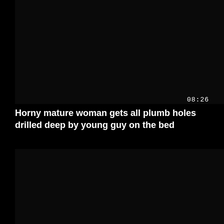[Figure (screenshot): Dark/black video thumbnail panel at top]
08:26
Horny mature woman gets all plumb holes drilled deep by young guy on the bed
[Figure (screenshot): Dark/black video thumbnail panel at bottom]